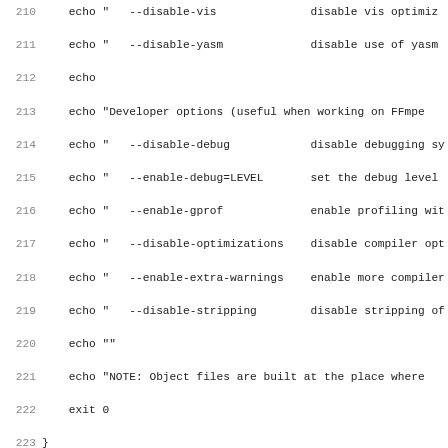[Figure (screenshot): Source code listing (shell script) showing lines 210-242, with line numbers on the left and monospace code on the right. Contains function definitions for log(), log_file(), echolog(), and die(), plus echo statements for developer options.]